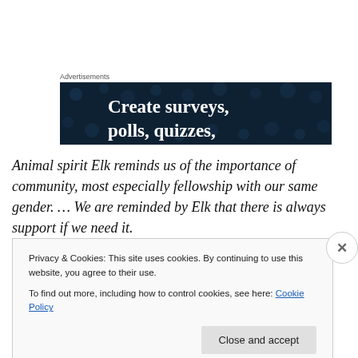Advertisements
[Figure (illustration): Dark navy blue advertisement banner with decorative dot pattern and white bold text reading 'Create surveys, polls, quizzes,']
Animal spirit Elk reminds us of the importance of community, most especially fellowship with our same gender. … We are reminded by Elk that there is always support if we need it.
Privacy & Cookies: This site uses cookies. By continuing to use this website, you agree to their use.
To find out more, including how to control cookies, see here: Cookie Policy
Close and accept